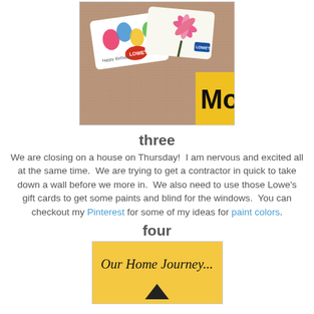[Figure (photo): Photo of Lowe's gift cards on a carpet surface, with a yellow box partially visible on the right showing text 'Mon']
three
We are closing on a house on Thursday!  I am nervous and excited all at the same time.  We are trying to get a contractor in quick to take down a wall before we more in.  We also need to use those Lowe's gift cards to get some paints and blind for the windows.  You can checkout my Pinterest for some of my ideas for paint colors.
four
[Figure (photo): Yellow background with handwritten cursive text 'Our Home Journey...' and a dark triangle/arrow shape at the bottom]